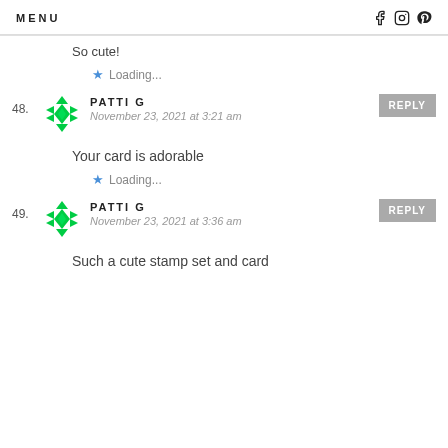MENU
So cute!
Loading...
48. PATTI G — November 23, 2021 at 3:21 am
Your card is adorable
Loading...
49. PATTI G — November 23, 2021 at 3:36 am
Such a cute stamp set and card